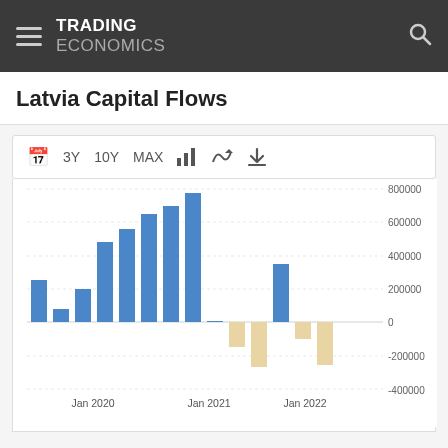TRADING ECONOMICS
Latvia Capital Flows
[Figure (bar-chart): Latvia Capital Flows]